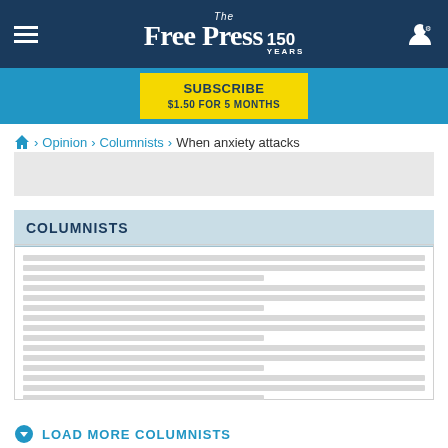The Free Press 150 Years
[Figure (other): Subscribe banner: SUBSCRIBE $1.50 FOR 5 MONTHS]
Home > Opinion > Columnists > When anxiety attacks
[Figure (other): Advertisement placeholder (grey rectangle)]
COLUMNISTS
[Figure (other): Loading placeholder lines for columnist list items]
LOAD MORE COLUMNISTS